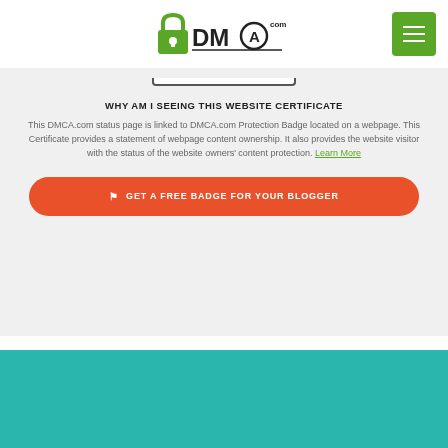[Figure (logo): DMCA.com logo with padlock icon and circular trademark symbol]
WHY AM I SEEING THIS WEBSITE CERTIFICATE
This DMCA.com status page is linked to DMCA.com Protection Badge located on a webpage. This Certificate provides a statement of webpage content ownership. It also provides the website visitor with the status of the website owners' content protection. Learn More
GET A FREE BADGE FOR YOUR BLOGGER